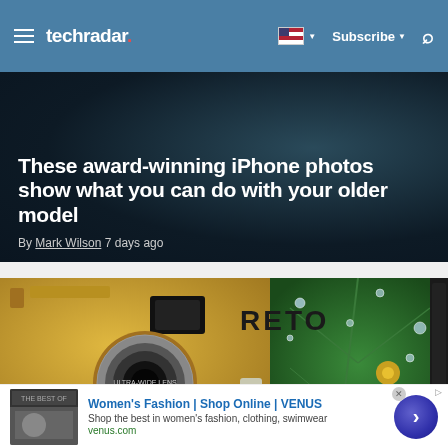techradar | Subscribe | Search
These award-winning iPhone photos show what you can do with your older model
By Mark Wilson 7 days ago
[Figure (photo): Yellow RETO brand point-and-shoot film camera with ULTRA-WIDE LENS label, next to a green leaf with water droplets and a smartphone]
Point-and-shoot compact cameras
Women's Fashion | Shop Online | VENUS
Shop the best in women's fashion, clothing, swimwear
venus.com